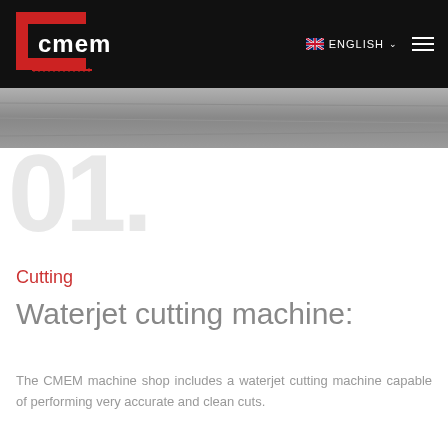CMEM — ENGLISH
[Figure (photo): Gray metallic texture / machinery surface photo strip]
01.
Cutting
Waterjet cutting machine:
The CMEM machine shop includes a waterjet cutting machine capable of performing very accurate and clean cuts.